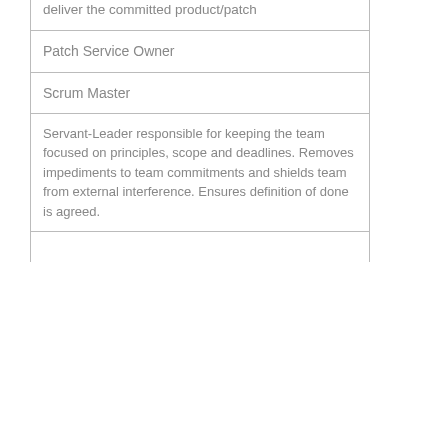| deliver the committed product/patch |  |
| Patch Service Owner |  |
| Scrum Master |  |
| Servant-Leader responsible for keeping the team focused on principles, scope and deadlines. Removes impediments to team commitments and shields team from external interference. Ensures definition of done is agreed. |  |